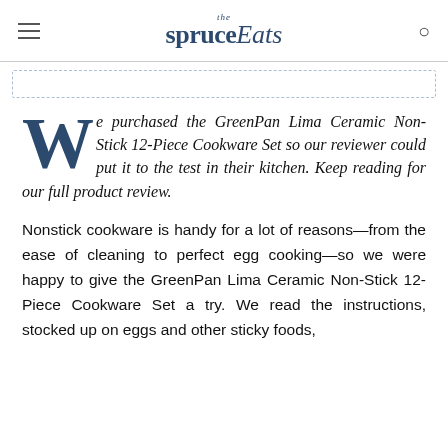the spruce Eats
We purchased the GreenPan Lima Ceramic Non-Stick 12-Piece Cookware Set so our reviewer could put it to the test in their kitchen. Keep reading for our full product review.
Nonstick cookware is handy for a lot of reasons—from the ease of cleaning to perfect egg cooking—so we were happy to give the GreenPan Lima Ceramic Non-Stick 12-Piece Cookware Set a try. We read the instructions, stocked up on eggs and other sticky foods,